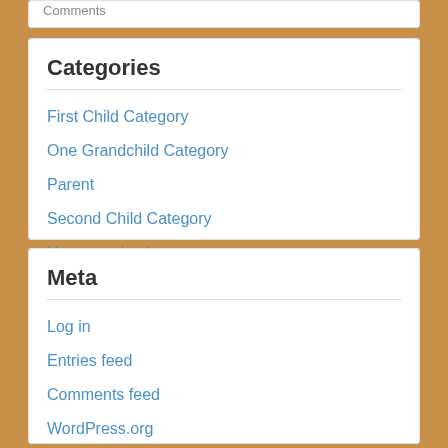Comments
Categories
First Child Category
One Grandchild Category
Parent
Second Child Category
Uncategorized
Meta
Log in
Entries feed
Comments feed
WordPress.org